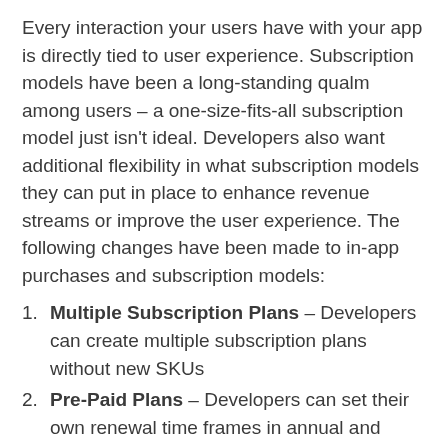Every interaction your users have with your app is directly tied to user experience. Subscription models have been a long-standing qualm among users – a one-size-fits-all subscription model just isn't ideal. Developers also want additional flexibility in what subscription models they can put in place to enhance revenue streams or improve the user experience. The following changes have been made to in-app purchases and subscription models:
Multiple Subscription Plans – Developers can create multiple subscription plans without new SKUs
Pre-Paid Plans – Developers can set their own renewal time frames in annual and monthly auto-renewal or one-month prepaid plans.
(partial, cut off at bottom)